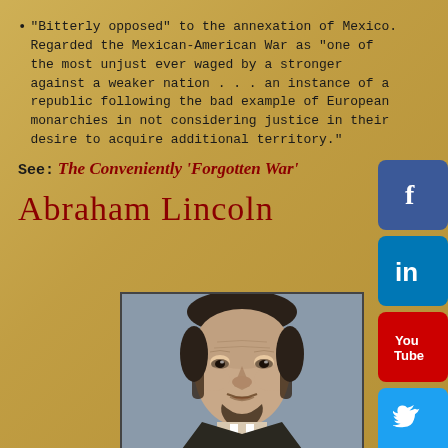"Bitterly opposed" to the annexation of Mexico. Regarded the Mexican-American War as "one of the most unjust ever waged by a stronger against a weaker nation . . . an instance of a republic following the bad example of European monarchies in not considering justice in their desire to acquire additional territory."
See: The Conveniently 'Forgotten War'
Abraham Lincoln
[Figure (photo): Portrait photograph of Abraham Lincoln]
[Figure (infographic): Social media icons: Facebook, LinkedIn, YouTube, Twitter, Instagram]